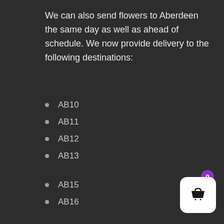We can also send flowers to Aberdeen the same day as well as ahead of schedule. We now provide delivery to the following destinations:
AB10
AB11
AB12
AB13
AB15
AB16
AB21
AB22
AB23
AB24
[Figure (illustration): Shopping basket widget icon with purple badge showing 0 items, white rounded square background]